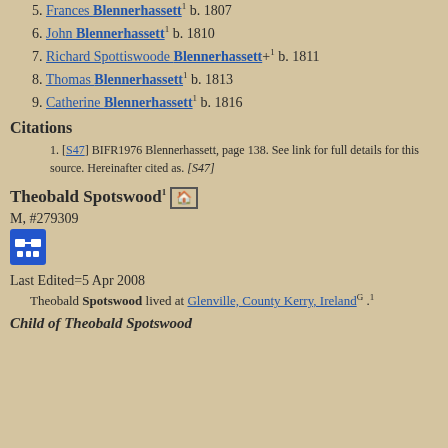5. Frances Blennerhassett1 b. 1807
6. John Blennerhassett1 b. 1810
7. Richard Spottiswoode Blennerhassett+1 b. 1811
8. Thomas Blennerhassett1 b. 1813
9. Catherine Blennerhassett1 b. 1816
Citations
[S47] BIFR1976 Blennerhassett, page 138. See link for full details for this source. Hereinafter cited as. [S47]
Theobald Spotswood1
M, #279309
Last Edited=5 Apr 2008
Theobald Spotswood lived at Glenville, County Kerry, IrelandG .1
Child of Theobald Spotswood